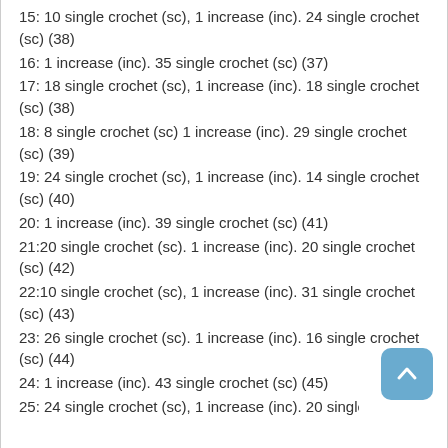15: 10 single crochet (sc), 1 increase (inc). 24 single crochet (sc) (38)
16: 1 increase (inc). 35 single crochet (sc) (37)
17: 18 single crochet (sc), 1 increase (inc). 18 single crochet (sc) (38)
18: 8 single crochet (sc) 1 increase (inc). 29 single crochet (sc) (39)
19: 24 single crochet (sc), 1 increase (inc). 14 single crochet (sc) (40)
20: 1 increase (inc). 39 single crochet (sc) (41)
21:20 single crochet (sc). 1 increase (inc). 20 single crochet (sc) (42)
22:10 single crochet (sc), 1 increase (inc). 31 single crochet (sc) (43)
23: 26 single crochet (sc). 1 increase (inc). 16 single crochet (sc) (44)
24: 1 increase (inc). 43 single crochet (sc) (45)
25: 24 single crochet (sc), 1 increase (inc). 20 single